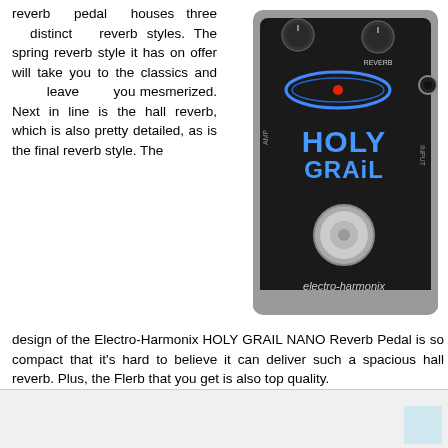reverb pedal houses three distinct reverb styles. The spring reverb style it has on offer will take you to the classics and leave you mesmerized. Next in line is the hall reverb, which is also pretty detailed, as is the final reverb style. The design of the Electro-Harmonix HOLY GRAIL NANO Reverb Pedal is so compact that it's hard to believe it can deliver such a spacious hall reverb. Plus, the Flerb that you get is also top quality.
[Figure (photo): Photo of the Electro-Harmonix Holy Grail Nano reverb pedal — a compact black guitar effects pedal with silver casing, blue oval logo reading 'HOLY GRAil', red LED indicator, a single chrome footswitch, knobs labeled FLERB and REVERB, and the electro-harmonix brand name at the bottom.]